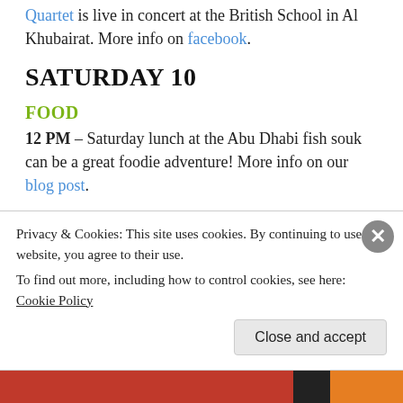Quartet is live in concert at the British School in Al Khubairat. More info on facebook.
SATURDAY 10
FOOD
12 PM – Saturday lunch at the Abu Dhabi fish souk can be a great foodie adventure! More info on our blog post.
SPORT
From 1:30 PM – The Clubhouse Sports Bar and Cafe is showing premier sport games live on their screens
Privacy & Cookies: This site uses cookies. By continuing to use this website, you agree to their use. To find out more, including how to control cookies, see here: Cookie Policy. Close and accept